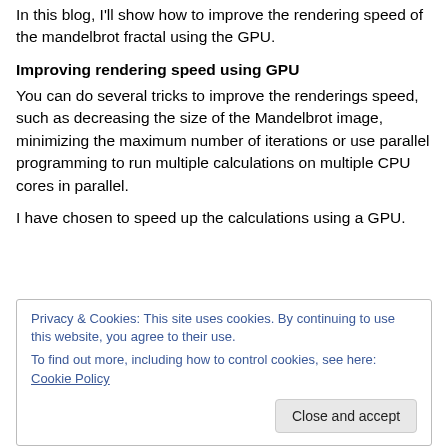In this blog, I'll show how to improve the rendering speed of the mandelbrot fractal using the GPU.
Improving rendering speed using GPU
You can do several tricks to improve the renderings speed, such as decreasing the size of the Mandelbrot image, minimizing the maximum number of iterations or use parallel programming to run multiple calculations on multiple CPU cores in parallel.
I have chosen to speed up the calculations using a GPU.
Privacy & Cookies: This site uses cookies. By continuing to use this website, you agree to their use.
To find out more, including how to control cookies, see here: Cookie Policy
Close and accept